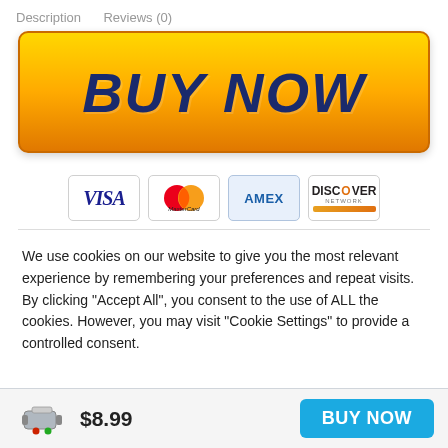Description    Reviews (0)
[Figure (other): Large orange/yellow gradient BUY NOW button]
[Figure (other): Payment method icons: VISA, MasterCard, AMEX, Discover]
We use cookies on our website to give you the most relevant experience by remembering your preferences and repeat visits. By clicking “Accept All”, you consent to the use of ALL the cookies. However, you may visit “Cookie Settings” to provide a controlled consent.
[Figure (other): Product image thumbnail - small audio adapter device]
$8.99
[Figure (other): BUY NOW button in blue]